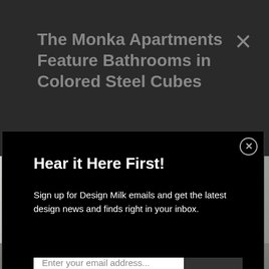The Monka Apartments Feature Bathrooms in Colored Steel Cubes
Hear it Here First!
Sign up for Design Milk emails and get the latest design news and finds right in your inbox.
Enter your email address...
SIGN UP
Not right now.
[Figure (photo): Interior apartment photo showing a modern room with white walls, a plant, and large windows, partially visible behind the modal overlay. Bottom section shows 'Made Cozy' text with decorative pillows.]